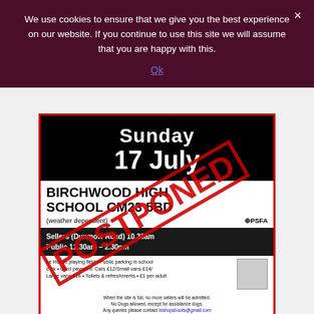We use cookies to ensure that we give you the best experience on our website. If you continue to use this site we will assume that you are happy with this.
Ok
[Figure (photo): A car boot sale event poster for Birchwood High School CM23 5BD, Sunday 17 July. Shows event details with sellers entry at 10.30am and public 11.30am-2.30pm. Has a large red diagonal POSTPONED stamp overlaid on it. Bordered in red.]
Bishop's Stortford Car Boot Sale